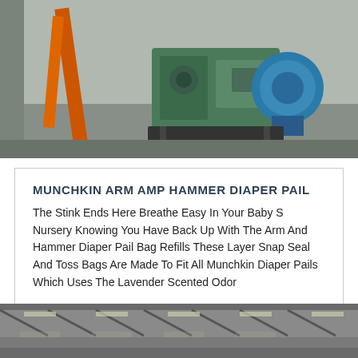[Figure (photo): Industrial machinery in a warehouse setting, including an orange crane arm, green mechanical equipment, and a blue motor on a concrete floor.]
MUNCHKIN ARM AMP HAMMER DIAPER PAIL
The Stink Ends Here Breathe Easy In Your Baby S Nursery Knowing You Have Back Up With The Arm And Hammer Diaper Pail Bag Refills These Layer Snap Seal And Toss Bags Are Made To Fit All Munchkin Diaper Pails Which Uses The Lavender Scented Odor
[Figure (photo): Interior of a large industrial warehouse or factory with corrugated metal roof structure, light coming through skylights, and a gray floor.]